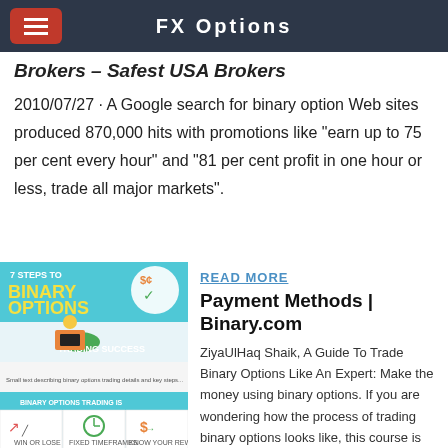FX Options
Brokers – Safest USA Brokers
2010/07/27 · A Google search for binary option Web sites produced 870,000 hits with promotions like "earn up to 75 per cent every hour" and "81 per cent profit in one hour or less, trade all major markets".
[Figure (infographic): 7 Steps to Binary Options Trading Success infographic showing icons for win or lose, fixed timeframes, know your reward, low risk, click and anywhere, simple]
READ MORE
Payment Methods | Binary.com
ZiyaUlHaq Shaik, A Guide To Trade Binary Options Like An Expert: Make the money using binary options. If you are wondering how the process of trading binary options looks like, this course is for you. The teacher will explain the fundamentals of trading binary options.